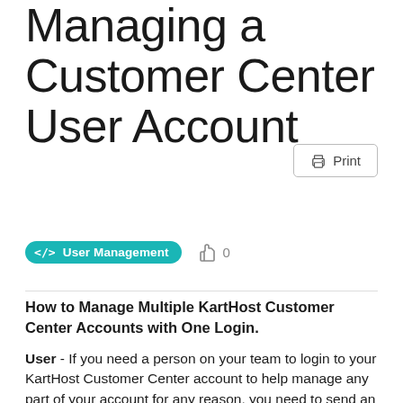Managing a Customer Center User Account
How to Manage Multiple KartHost Customer Center Accounts with One Login.
User - If you need a person on your team to login to your KartHost Customer Center account to help manage any part of your account for any reason, you need to send an Invite to that person's email of choice to set up a User to access your account.